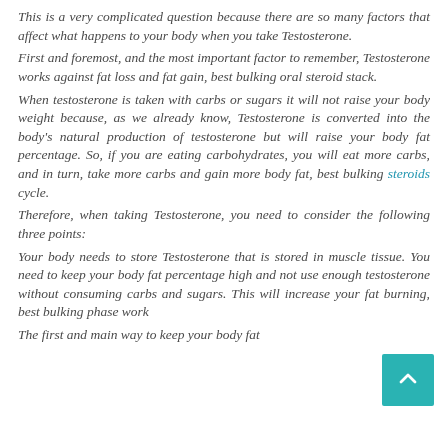This is a very complicated question because there are so many factors that affect what happens to your body when you take Testosterone.
First and foremost, and the most important factor to remember, Testosterone works against fat loss and fat gain, best bulking oral steroid stack.
When testosterone is taken with carbs or sugars it will not raise your body weight because, as we already know, Testosterone is converted into the body's natural production of testosterone but will raise your body fat percentage. So, if you are eating carbohydrates, you will eat more carbs, and in turn, take more carbs and gain more body fat, best bulking steroids cycle.
Therefore, when taking Testosterone, you need to consider the following three points:
Your body needs to store Testosterone that is stored in muscle tissue. You need to keep your body fat percentage high and not use enough testosterone without consuming carbs and sugars. This will increase your fat burning, best bulking phase workout.
The first and main way to keep your body fat percentage high is the calorie restricted diet...